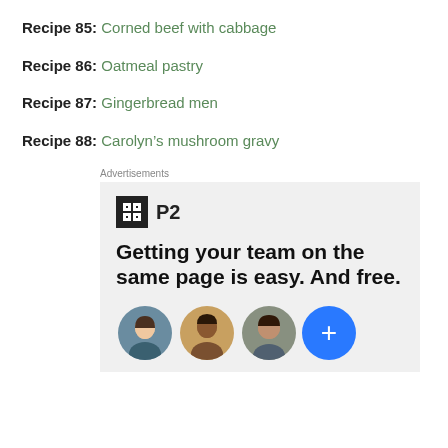Recipe 85: Corned beef with cabbage
Recipe 86: Oatmeal pastry
Recipe 87: Gingerbread men
Recipe 88: Carolyn’s mushroom gravy
[Figure (screenshot): Advertisement for P2 app showing logo, headline 'Getting your team on the same page is easy. And free.' with three person avatars and a blue plus button.]